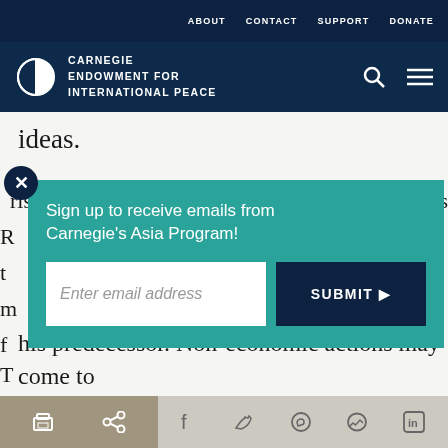ABOUT  CONTACT  SUPPORT  DONATE
[Figure (logo): Carnegie Endowment for International Peace logo with globe icon, white on dark navy background]
ideas.
Sign up to receive emails from Carnegie's Asia Program!
Enter email address
SUBMIT ▶
his predecessor. Non-economic actions may come to
Print  Share  Facebook  Twitter  WhatsApp  Messenger  LinkedIn